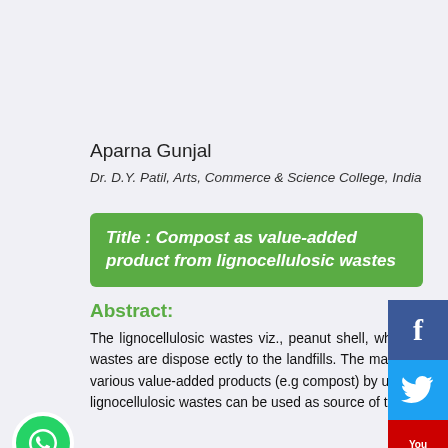Aparna Gunjal
Dr. D.Y. Patil, Arts, Commerce & Science College, India
Title : Compost as value-added product from lignocellulosic wastes
Abstract:
The lignocellulosic wastes viz., peanut shell, wheat straw, rice bran, coconut shell, orange peels, etc. are generated in huge amount. These wastes are disposed directly to the landfills. The management of these lignocellulosic wastes is necessary, which can be done by conversion to various value-added products (e.g. compost) by using solid state fermentation. Solid state fermentation requires the use of substrate, where lignocellulosic wastes can be used as source of the